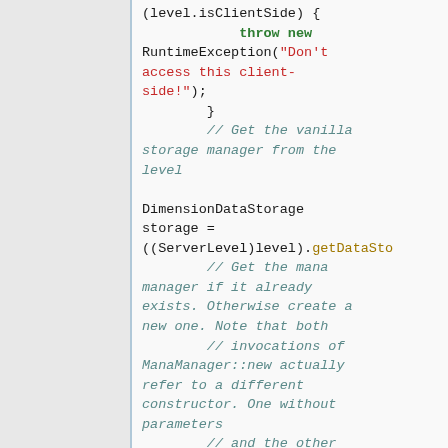[Figure (screenshot): Code snippet showing Java code with a RuntimeException throw for client-side access, followed by DimensionDataStorage variable assignment via ServerLevel cast and getDataStorage call, then multi-line comments about getting/creating ManaManager.]